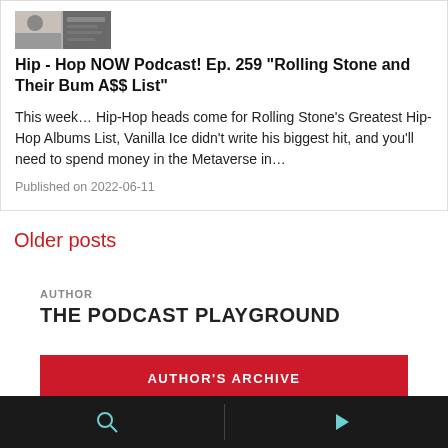[Figure (photo): Thumbnail image for podcast episode, partially visible at top of card]
Hip - Hop NOW Podcast! Ep. 259 "Rolling Stone and Their Bum A$$ List"
This week... Hip-Hop heads come for Rolling Stone's Greatest Hip-Hop Albums List, Vanilla Ice didn't write his biggest hit, and you'll need to spend money in the Metaverse in...
Published on 2022-06-11
Older posts
AUTHOR
THE PODCAST PLAYGROUND
AUTHOR'S ARCHIVE